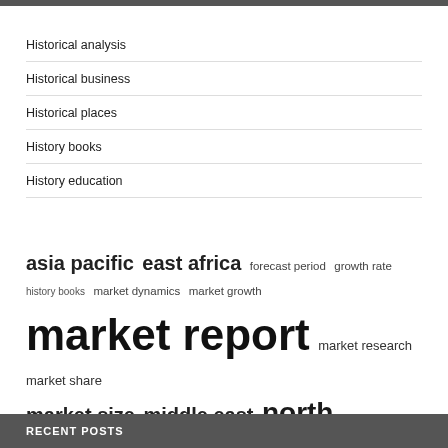Historical analysis
Historical business
Historical places
History books
History education
asia pacific  east africa  forecast period  growth rate  history books  market dynamics  market growth  market report  market research  market share  market size  middle east  north america  research report  united states
RECENT POSTS